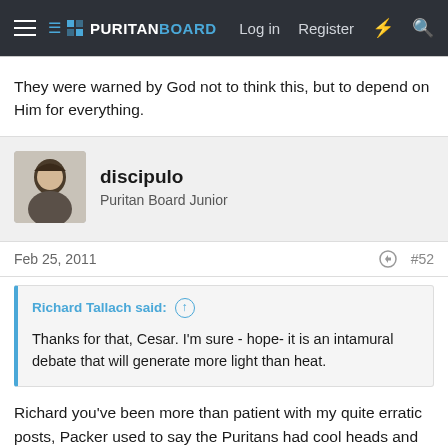PURITANBOARD — Log in  Register
They were warned by God not to think this, but to depend on Him for everything.
discipulo
Puritan Board Junior
Feb 25, 2011  #52
Richard Tallach said: ↑
Thanks for that, Cesar. I'm sure - hope- it is an intamural debate that will generate more light than heat.
Richard you've been more than patient with my quite erratic posts, Packer used to say the Puritans had cool heads and hot hearts, like we should have too.